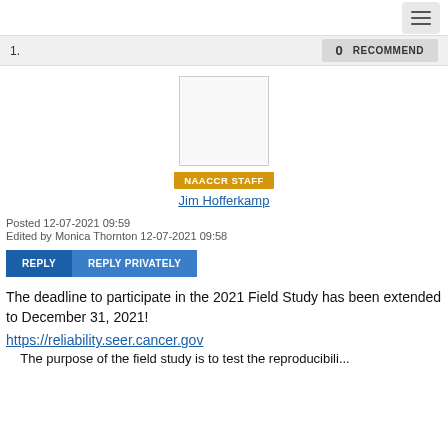[hamburger menu button]
1.   0   RECOMMEND
[Figure (illustration): User profile avatar placeholder box (empty light gray rectangle)]
NAACCR STAFF
Jim Hofferkamp
Posted 12-07-2021 09:59
Edited by Monica Thornton 12-07-2021 09:58
REPLY   REPLY PRIVATELY
The deadline to participate in the 2021 Field Study has been extended to December 31, 2021!
https://reliability.seer.cancer.gov
The purpose of the field study is to test the reproducibili...